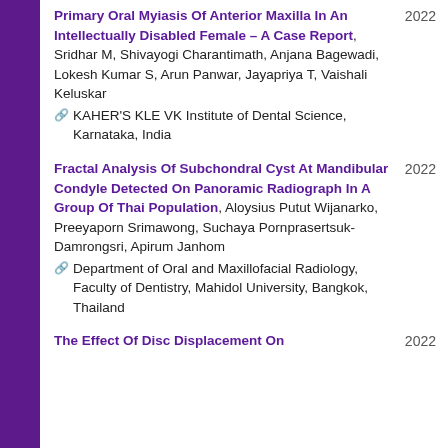Primary Oral Myiasis Of Anterior Maxilla In An Intellectually Disabled Female – A Case Report, Sridhar M, Shivayogi Charantimath, Anjana Bagewadi, Lokesh Kumar S, Arun Panwar, Jayapriya T, Vaishali Keluskar. KAHER'S KLE VK Institute of Dental Science, Karnataka, India. 2022
Fractal Analysis Of Subchondral Cyst At Mandibular Condyle Detected On Panoramic Radiograph In A Group Of Thai Population, Aloysius Putut Wijanarko, Preeyaporn Srimawong, Suchaya Pornprasertsuk-Damrongsri, Apirum Janhom. Department of Oral and Maxillofacial Radiology, Faculty of Dentistry, Mahidol University, Bangkok, Thailand. 2022
The Effect Of Disc Displacement On... 2022